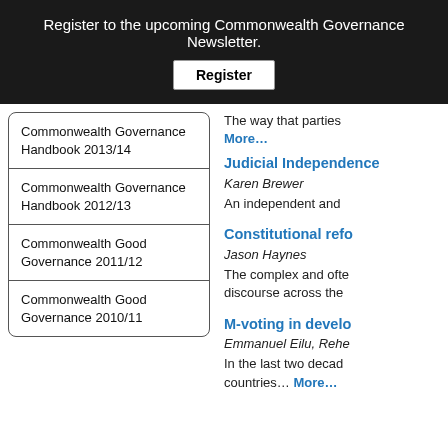Register to the upcoming Commonwealth Governance Newsletter.
Register
| Commonwealth Governance Handbook 2013/14 |
| Commonwealth Governance Handbook 2012/13 |
| Commonwealth Good Governance 2011/12 |
| Commonwealth Good Governance 2010/11 |
The way that parties… More…
Judicial Independence
Karen Brewer
An independent and
Constitutional reform
Jason Haynes
The complex and often discourse across the
M-voting in developing
Emmanuel Eilu, Reha
In the last two decades countries… More…